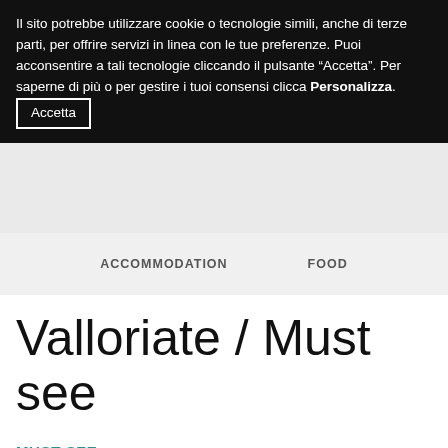Il sito potrebbe utilizzare cookie o tecnologie simili, anche di terze parti, per offrire servizi in linea con le tue preferenze. Puoi acconsentire a tali tecnologie cliccando il pulsante “Accetta”. Per saperne di più o per gestire i tuoi consensi clicca Personalizza. Accetta
ACCOMMODATION   FOOD
Valloriate / Must see
MUST SEE
MUST DO
USEFUL NUMBERS